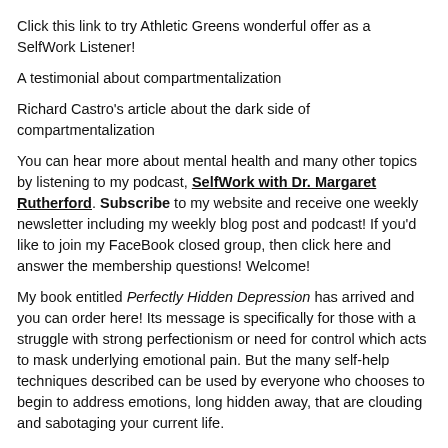Click this link to try Athletic Greens wonderful offer as a SelfWork Listener!
A testimonial about compartmentalization
Richard Castro's article about the dark side of compartmentalization
You can hear more about mental health and many other topics by listening to my podcast, SelfWork with Dr. Margaret Rutherford. Subscribe to my website and receive one weekly newsletter including my weekly blog post and podcast! If you'd like to join my FaceBook closed group, then click here and answer the membership questions! Welcome!
My book entitled Perfectly Hidden Depression has arrived and you can order here! Its message is specifically for those with a struggle with strong perfectionism or need for control which acts to mask underlying emotional pain. But the many self-help techniques described can be used by everyone who chooses to begin to address emotions, long hidden away, that are clouding and sabotaging your current life.
And there's a new way to send me a message! You can record by clicking below and ask your question or make a comment. You'll have 90 seconds to do so and that time goes quickly. By recording, you're giving SelfWork (and me) permission to use your voice on the podcast. I'll look forward to hearing from you!
Send a voice message